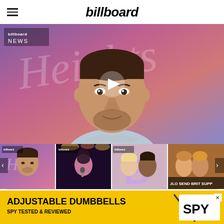billboard
[Figure (screenshot): Billboard News video player showing a man (Lin-Manuel Miranda) against a colorful pink/purple background with script lettering. A play button is overlaid in the center. A 'billboard NEWS' badge appears in the top left.]
[Figure (screenshot): Thumbnail row of four video previews: 1) Same man in front of colorful background, 2) A woman singing at a microphone on stage, 3) Two people posing together, 4) Two women posing together with partial text 'JLO SEND BRIT SUPP'. Left and right navigation arrows.]
[Figure (screenshot): Advertisement banner: yellow background with text 'ADJUSTABLE DUMBBELLS SPY TESTED & REVIEWED' and SPY logo in white box. Close X button in top right.]